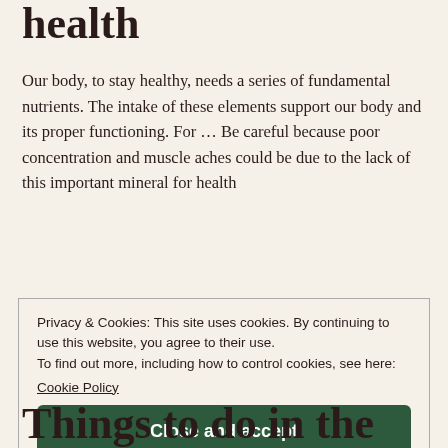health
Our body, to stay healthy, needs a series of fundamental nutrients. The intake of these elements support our body and its proper functioning. For ... Be careful because poor concentration and muscle aches could be due to the lack of this important mineral for health
Privacy & Cookies: This site uses cookies. By continuing to use this website, you agree to their use.
To find out more, including how to control cookies, see here:
Cookie Policy
[Close and accept]
Things to do in the